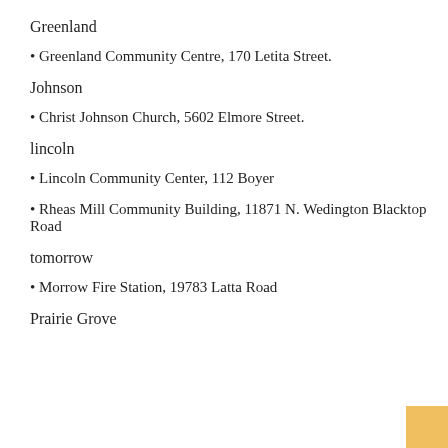Greenland
• Greenland Community Centre, 170 Letita Street.
Johnson
• Christ Johnson Church, 5602 Elmore Street.
lincoln
• Lincoln Community Center, 112 Boyer
• Rheas Mill Community Building, 11871 N. Wedington Blacktop Road
tomorrow
• Morrow Fire Station, 19783 Latta Road
Prairie Grove